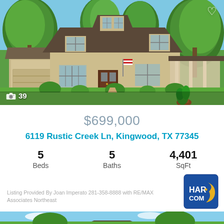[Figure (photo): Exterior photo of a two-story stone and brick house with lush green landscaping, trees, and a front porch. Photo count overlay shows camera icon and 39.]
$699,000
6119 Rustic Creek Ln, Kingwood, TX 77345
5 Beds   5 Baths   4,401 SqFt
Listing Provided By Joan Imperato 281-358-8888 with RE/MAX Associates Northeast
[Figure (logo): HAR.COM logo — blue square with gold crescent moon and white text HAR.COM]
[Figure (photo): Partial exterior photo at the bottom of the page showing a rooftop and blue sky]